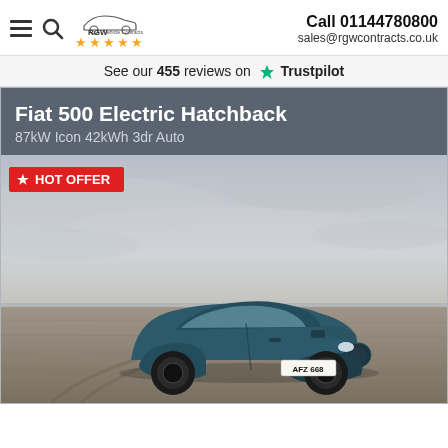RGW Vehicle Contracts — Call 01144780800 — sales@rgwcontracts.co.uk
See our 455 reviews on ★ Trustpilot
Fiat 500 Electric Hatchback
87kW Icon 42kWh 3dr Auto
[Figure (photo): Fiat 500 Electric Hatchback (teal/dark blue) on a beach with overcast sky, registration plate AFZ 668. HOT OFFER badge in red top-left.]